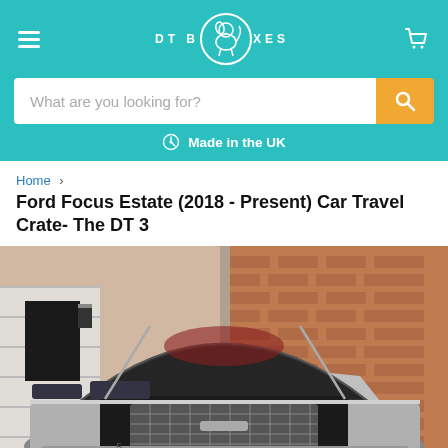DTBoxes - Navigation header with logo, hamburger menu, cart icon, search bar, and Made in the UK badge
Home > Ford Focus Estate (2018 - Present) Car Travel Crate- The DT 3
Ford Focus Estate (2018 - Present) Car Travel Crate- The DT 3
[Figure (photo): Photo of a silver Ford Focus Estate car with boot/tailgate open, showing a metal dog travel crate installed in the boot. The car is parked in front of a brick building.]